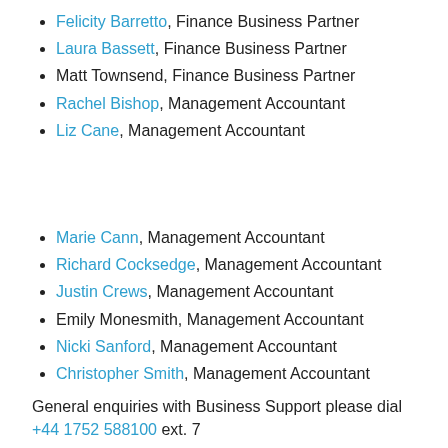Felicity Barretto, Finance Business Partner
Laura Bassett, Finance Business Partner
Matt Townsend, Finance Business Partner
Rachel Bishop, Management Accountant
Liz Cane, Management Accountant
Marie Cann, Management Accountant
Richard Cocksedge, Management Accountant
Justin Crews, Management Accountant
Emily Monesmith, Management Accountant
Nicki Sanford, Management Accountant
Christopher Smith, Management Accountant
General enquiries with Business Support please dial +44 1752 588100 ext. 7